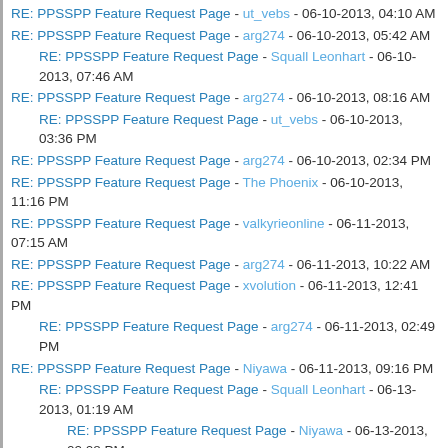RE: PPSSPP Feature Request Page - ut_vebs - 06-10-2013, 04:10 AM
RE: PPSSPP Feature Request Page - arg274 - 06-10-2013, 05:42 AM
RE: PPSSPP Feature Request Page - Squall Leonhart - 06-10-2013, 07:46 AM
RE: PPSSPP Feature Request Page - arg274 - 06-10-2013, 08:16 AM
RE: PPSSPP Feature Request Page - ut_vebs - 06-10-2013, 03:36 PM
RE: PPSSPP Feature Request Page - arg274 - 06-10-2013, 02:34 PM
RE: PPSSPP Feature Request Page - The Phoenix - 06-10-2013, 11:16 PM
RE: PPSSPP Feature Request Page - valkyrieonline - 06-11-2013, 07:15 AM
RE: PPSSPP Feature Request Page - arg274 - 06-11-2013, 10:22 AM
RE: PPSSPP Feature Request Page - xvolution - 06-11-2013, 12:41 PM
RE: PPSSPP Feature Request Page - arg274 - 06-11-2013, 02:49 PM
RE: PPSSPP Feature Request Page - Niyawa - 06-11-2013, 09:16 PM
RE: PPSSPP Feature Request Page - Squall Leonhart - 06-13-2013, 01:19 AM
RE: PPSSPP Feature Request Page - Niyawa - 06-13-2013, 02:08 PM
RE: PPSSPP Feature Request Page - arg274 - 06-12-2013, 12:34 PM
RE: PPSSPP Feature Request Page - vnctdj - 06-12-2013, 06:55 PM
RE: PPSSPP Feature Request Page - Nezaro - 06-13-2013, 12:39 PM